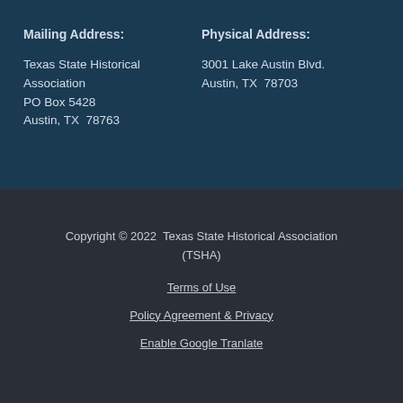Mailing Address:

Texas State Historical Association
PO Box 5428
Austin, TX  78763
Physical Address:

3001 Lake Austin Blvd.
Austin, TX  78703
Copyright © 2022  Texas State Historical Association (TSHA)
Terms of Use
Policy Agreement & Privacy
Enable Google Tranlate